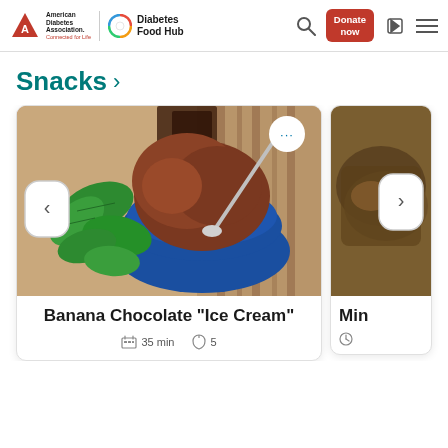[Figure (screenshot): American Diabetes Association and Diabetes Food Hub logos in website header]
[Figure (screenshot): Donate now button and navigation icons (search, login, hamburger menu) in website header]
Snacks >
[Figure (photo): Chocolate banana ice cream in a blue bowl with mint leaves and a spoon on a striped cloth background]
Banana Chocolate "Ice Cream"
35 min   5
[Figure (photo): Partially visible second recipe card showing a cooked dish, with right navigation arrow]
Min